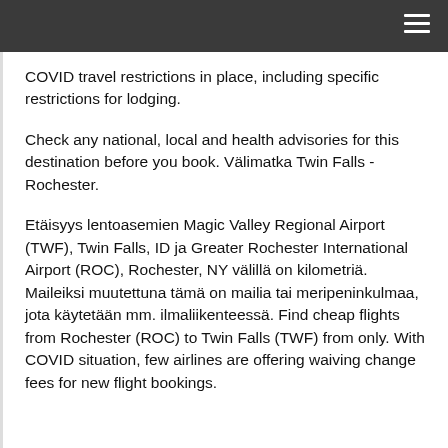COVID travel restrictions in place, including specific restrictions for lodging.
Check any national, local and health advisories for this destination before you book. Välimatka Twin Falls - Rochester.
Etäisyys lentoasemien Magic Valley Regional Airport (TWF), Twin Falls, ID ja Greater Rochester International Airport (ROC), Rochester, NY välillä on kilometriä. Maileiksi muutettuna tämä on mailia tai meripeninkulmaa, jota käytetään mm. ilmaliikenteessä. Find cheap flights from Rochester (ROC) to Twin Falls (TWF) from only. With COVID situation, few airlines are offering waiving change fees for new flight bookings.